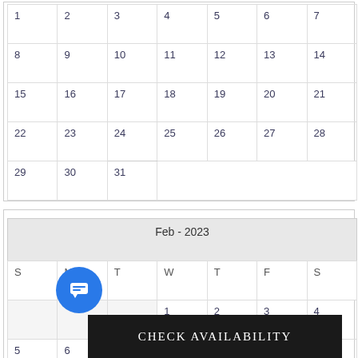| 1 | 2 | 3 | 4 | 5 | 6 | 7 |
| 8 | 9 | 10 | 11 | 12 | 13 | 14 |
| 15 | 16 | 17 | 18 | 19 | 20 | 21 |
| 22 | 23 | 24 | 25 | 26 | 27 | 28 |
| 29 | 30 | 31 |  |  |  |  |
| Feb - 2023 |
| --- |
| S | M | T | W | T | F | S |
|  |  |  | 1 | 2 | 3 | 4 |
| 5 | 6 | 7 | 8 | 9 | 10 | 11 |
| 12 | 13 | 14 | 15 | 16 | 17 | 18 |
| 19 | 20 | 21 | 22 | 23 | 24 | 25 |
| 26 | 27 | 28 |  |  |  |  |
Check Availability